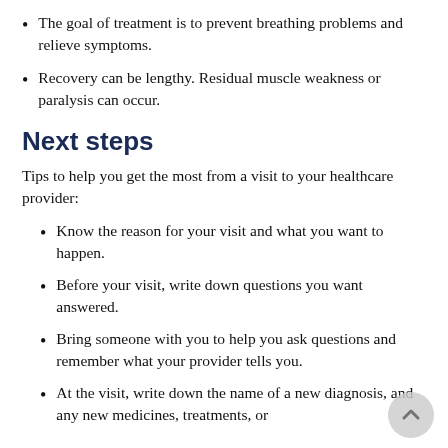The goal of treatment is to prevent breathing problems and relieve symptoms.
Recovery can be lengthy. Residual muscle weakness or paralysis can occur.
Next steps
Tips to help you get the most from a visit to your healthcare provider:
Know the reason for your visit and what you want to happen.
Before your visit, write down questions you want answered.
Bring someone with you to help you ask questions and remember what your provider tells you.
At the visit, write down the name of a new diagnosis, and any new medicines, treatments, or